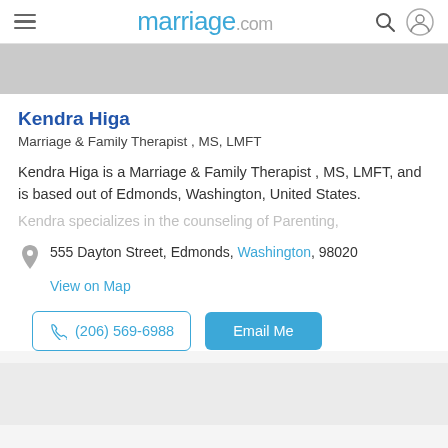marriage.com
[Figure (photo): Profile photo placeholder - gray rectangle]
Kendra Higa
Marriage & Family Therapist , MS, LMFT
Kendra Higa is a Marriage & Family Therapist , MS, LMFT, and is based out of Edmonds, Washington, United States.
Kendra specializes in the counseling of Parenting,
555 Dayton Street, Edmonds, Washington, 98020
View on Map
(206) 569-6988
Email Me